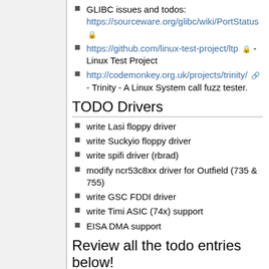GLIBC issues and todos: https://sourceware.org/glibc/wiki/PortStatus 🔒
https://github.com/linux-test-project/ltp 🔒 - Linux Test Project
http://codemonkey.org.uk/projects/trinity/ 🔗 - Trinity - A Linux System call fuzz tester.
TODO Drivers
write Lasi floppy driver
write Suckyio floppy driver
write spifi driver (rbrad)
modify ncr53c8xx driver for Outfield (735 & 755)
write GSC FDDI driver
write Timi ASIC (74x) support
EISA DMA support
Review all the todo entries below!
ns87415 dma doesn't work reliably on suckyio-systems